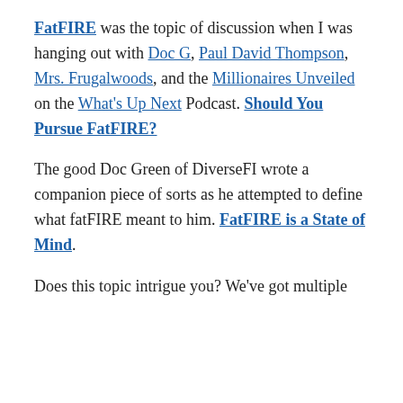FatFIRE was the topic of discussion when I was hanging out with Doc G, Paul David Thompson, Mrs. Frugalwoods, and the Millionaires Unveiled on the What's Up Next Podcast. Should You Pursue FatFIRE?
The good Doc Green of DiverseFI wrote a companion piece of sorts as he attempted to define what fatFIRE meant to him. FatFIRE is a State of Mind.
Does this topic intrigue you? We've got multiple